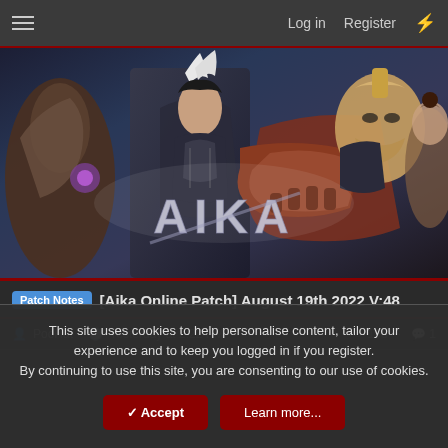Log in  Register
[Figure (illustration): Game banner image for Aika Online showing armored fantasy characters including a female warrior in black armor with white feather headpiece and a male character in dark armor, with the AIKA game logo in the center, dark blue and brown fantasy background]
[Patch Notes] [Aika Online Patch] August 19th 2022 V:48
PooHat · Yesterday at 2:22 PM  198 · 1
This site uses cookies to help personalise content, tailor your experience and to keep you logged in if you register.
By continuing to use this site, you are consenting to our use of cookies.
✓ Accept  Learn more...